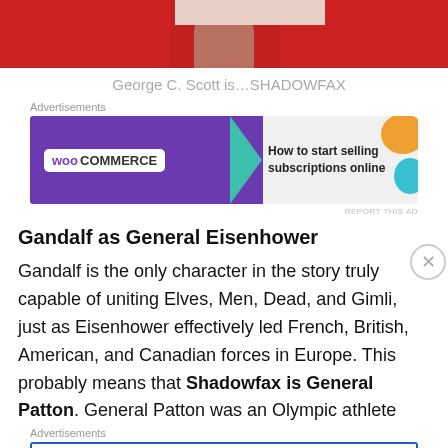[Figure (photo): Top of page shows a cropped photo with a red background and a figure visible from approximately the waist down, wearing brown/tan pants.]
George C. Scott is…SHADOWFAX
[Figure (screenshot): WooCommerce advertisement banner: 'How to start selling subscriptions online']
Gandalf as General Eisenhower
Gandalf is the only character in the story truly capable of uniting Elves, Men, Dead, and Gimli, just as Eisenhower effectively led French, British, American, and Canadian forces in Europe. This probably means that Shadowfax is General Patton. General Patton was an Olympic athlete
[Figure (screenshot): Pressable advertisement: 'The Platform Where WordPress Works Best']